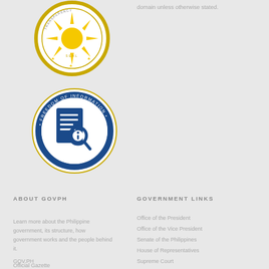[Figure (logo): Philippine Transparency Seal logo — circular seal with sun and stars in gold/yellow on white background]
[Figure (logo): Freedom of Information Philippines seal — circular blue seal with document and magnifying glass icon]
domain unless otherwise stated.
ABOUT GOVPH
GOVERNMENT LINKS
Learn more about the Philippine government, its structure, how government works and the people behind it.
GOV.PH
Official Gazette
Open Data Portal
Office of the President
Office of the Vice President
Senate of the Philippines
House of Representatives
Supreme Court
Court of Appeals
Sandiganbayan